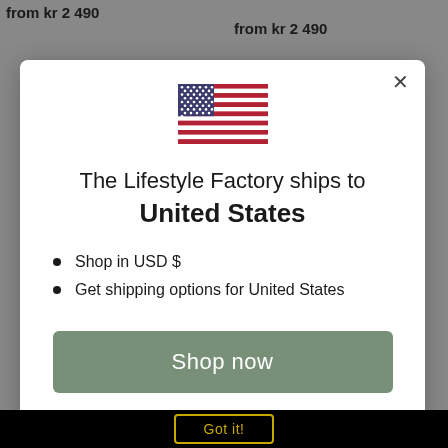from kr 2 490  kr 3 990
from kr 2 490  kr 3 990
[Figure (illustration): US flag emoji/icon centered in modal]
The Lifestyle Factory ships to United States
Shop in USD $
Get shipping options for United States
Shop now
Change shipping country
Got it!